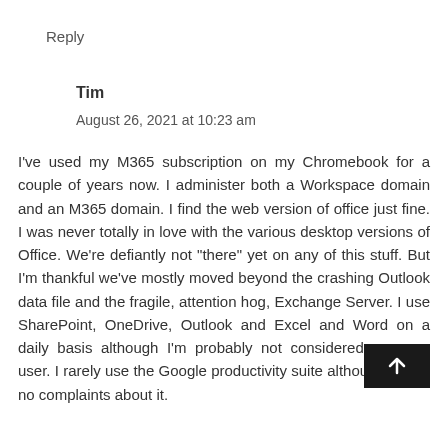Reply
Tim
August 26, 2021 at 10:23 am
I've used my M365 subscription on my Chromebook for a couple of years now. I administer both a Workspace domain and an M365 domain. I find the web version of office just fine. I was never totally in love with the various desktop versions of Office. We’re defiantly not “there” yet on any of this stuff. But I’m thankful we’ve mostly moved beyond the crashing Outlook data file and the fragile, attention hog, Exchange Server. I use SharePoint, OneDrive, Outlook and Excel and Word on a daily basis although I’m probably not considered a power user. I rarely use the Google productivity suite although I have no complaints about it.
[Figure (other): Scroll-to-top button with upward arrow icon on dark background]